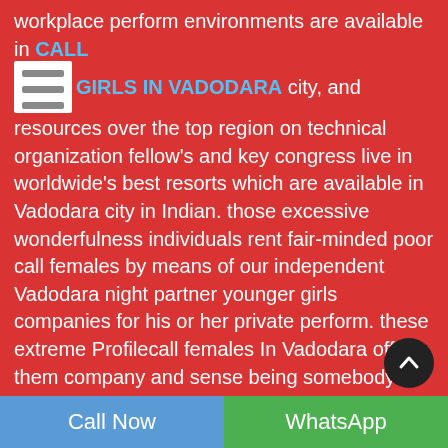workplace perform environments are available in CALL GIRLS IN VADODARA city, and resources over the top region on technical organization fellow's and key congress live in worldwide's best resorts which are available in Vadodara city in Indian. those excessive wonderfulness individuals rent fair-minded poor call females by means of our independent Vadodara night partner younger girls companies for his or her private perform. these extreme Profilecall females In Vadodara offers them company and sense being somebody to whom they may love, discuss, communicated and examined the passion of passion. Welcome to the whole domain of closing a snicker. I'm Soniya Mehra a more popular more younger and powerful lady abiding within the capital of scotland - Vadodara. I'm in all reality settled to provide folks who're residing personal, frustrated and disturbing way of lifestyle in Vadodara.?
Call Now
WhatsApp